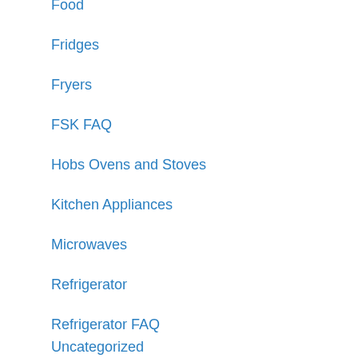Food
Fridges
Fryers
FSK FAQ
Hobs Ovens and Stoves
Kitchen Appliances
Microwaves
Refrigerator
Refrigerator FAQ
Uncategorized